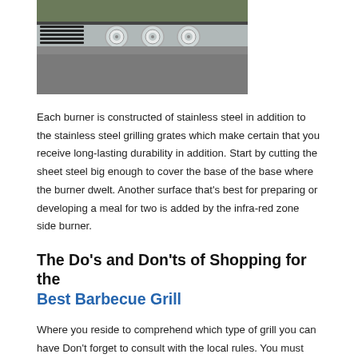[Figure (photo): Close-up photo of a stainless steel gas grill with chrome control knobs, viewed from above at an angle, outdoors with greenery in background.]
Each burner is constructed of stainless steel in addition to the stainless steel grilling grates which make certain that you receive long-lasting durability in addition. Start by cutting the sheet steel big enough to cover the base of the base where the burner dwelt. Another surface that's best for preparing or developing a meal for two is added by the infra-red zone side burner.
The Do's and Don'ts of Shopping for the Best Barbecue Grill
Where you reside to comprehend which type of grill you can have Don't forget to consult with the local rules. You must know there are four primary sorts of barbecue grill. Therefore, pick the barbecue grill depends on what's requirements and your priority. It includes